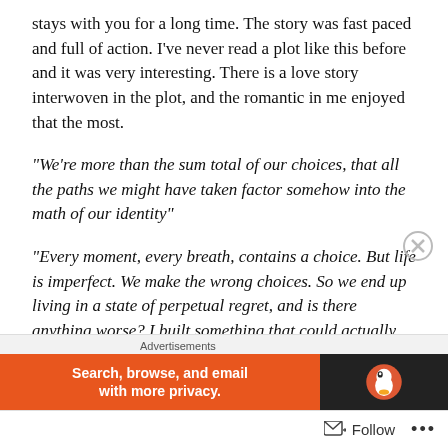stays with you for a long time. The story was fast paced and full of action. I've never read a plot like this before and it was very interesting. There is a love story interwoven in the plot, and the romantic in me enjoyed that the most.
“We’re more than the sum total of our choices, that all the paths we might have taken factor somehow into the math of our identity”
“Every moment, every breath, contains a choice. But life is imperfect. We make the wrong choices. So we end up living in a state of perpetual regret, and is there anything worse? I built something that could actually eradicate regret. Let you find worlds where you made the right
Advertisements
[Figure (screenshot): DuckDuckGo advertisement banner: orange section with text 'Search, browse, and email with more privacy.' and dark section with DuckDuckGo duck logo]
Follow ...